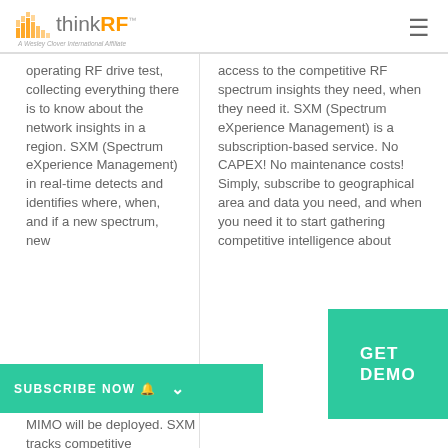[Figure (logo): thinkRF logo with orange bars and text, subtitle 'A Wesley Clover International Affiliate']
operating RF drive test, collecting everything there is to know about the network insights in a region. SXM (Spectrum eXperience Management) in real-time detects and identifies where, when, and if a new spectrum, new
access to the competitive RF spectrum insights they need, when they need it. SXM (Spectrum eXperience Management) is a subscription-based service. No CAPEX! No maintenance costs! Simply, subscribe to geographical area and data you need, and when you need it to start gathering competitive intelligence about
MIMO will be deployed. SXM tracks competitive occupancy.
SUBSCRIBE NOW 🔔 ∨
GET DEMO